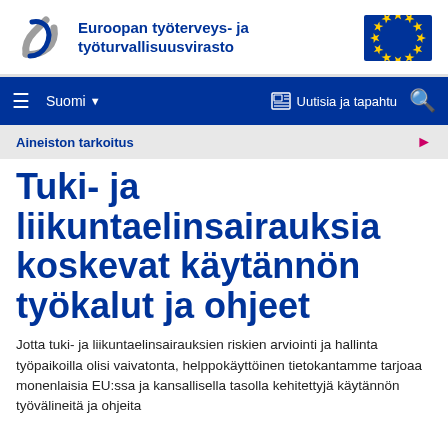[Figure (logo): EU-OSHA logo: stylized figure/arrow in blue/grey with text 'Euroopan työterveys- ja työturvallisuusvirasto' and EU flag]
Suomi | Uutisia ja tapahtu
Aineiston tarkoitus
Tuki- ja liikuntaelinsairauksia koskevat käytännön työkalut ja ohjeet
Jotta tuki- ja liikuntaelinsairauksien riskien arviointi ja hallinta työpaikoilla olisi vaivatonta, helppokäyttöinen tietokantamme tarjoaa monenlaisia EU:ssa ja kansallisella tasolla kehitettyjä käytännön työvälineitä ja ohjeita